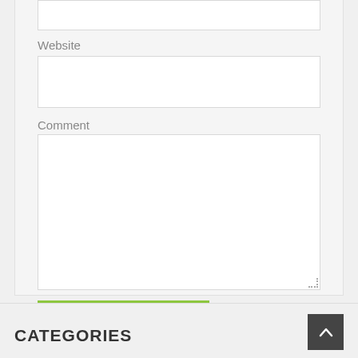[Figure (screenshot): Website form input box at the top, partially visible]
Website
[Figure (screenshot): Website text input field (empty)]
Comment
[Figure (screenshot): Comment textarea field (empty, resizable)]
Post Comment
CATEGORIES